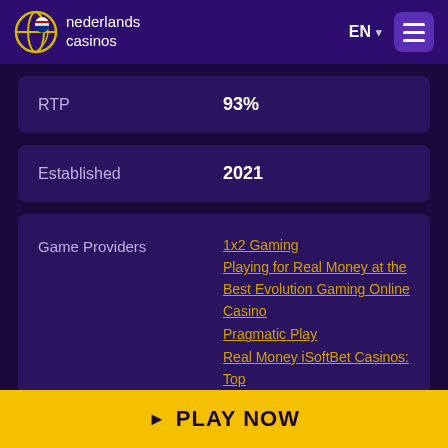nederlands casinos | EN
| Field | Value |
| --- | --- |
| RTP | 93% |
| Established | 2021 |
| Field | Value |
| --- | --- |
| Game Providers | 1x2 Gaming | Playing for Real Money at the Best Evolution Gaming Online Casino | Pragmatic Play | Real Money iSoftBet Casinos: Top Games in Netherlands | Yggdrasil |
PLAY NOW